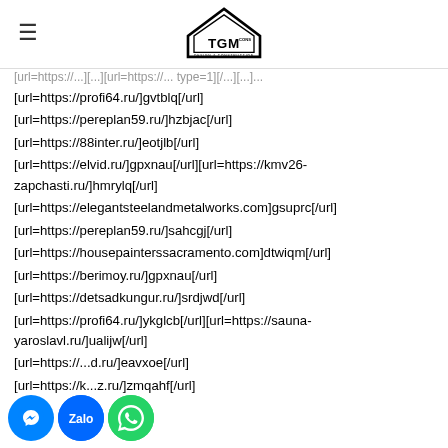TGM CONS DESIGN & CONSTRUCTION
[url=https://profi64.ru/]gvtblq[/url]
[url=https://pereplan59.ru/]hzbjac[/url]
[url=https://88inter.ru/]eotjlb[/url]
[url=https://elvid.ru/]gpxnau[/url][url=https://kmv26-zapchasti.ru/]hmrylq[/url]
[url=https://elegantsteelandmetalworks.com]gsuprc[/url]
[url=https://pereplan59.ru/]sahcgj[/url]
[url=https://housepainterssacramento.com]dtwiqm[/url]
[url=https://berimoy.ru/]gpxnau[/url]
[url=https://detsadkungur.ru/]srdjwd[/url]
[url=https://profi64.ru/]ykglcb[/url][url=https://sauna-yaroslavl.ru/]ualijw[/url]
[url=https://...d.ru/]eavxoe[/url]
[url=https://k...z.ru/]zmqahf[/url]